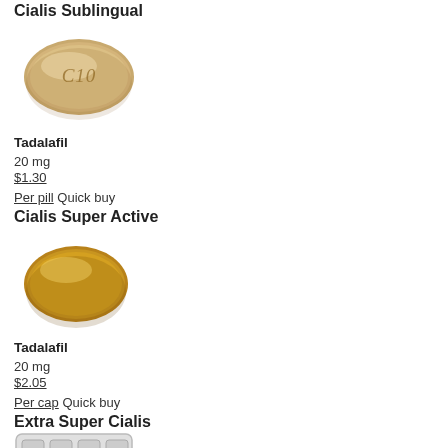Cialis Sublingual
[Figure (photo): Oval tan/beige pill with 'C10' inscribed on it]
Tadalafil
20 mg
$1.30
Per pill Quick buy
Cialis Super Active
[Figure (photo): Golden/amber oval capsule-shaped pill]
Tadalafil
20 mg
$2.05
Per cap Quick buy
Extra Super Cialis
[Figure (photo): Blister pack with white/grey pills]